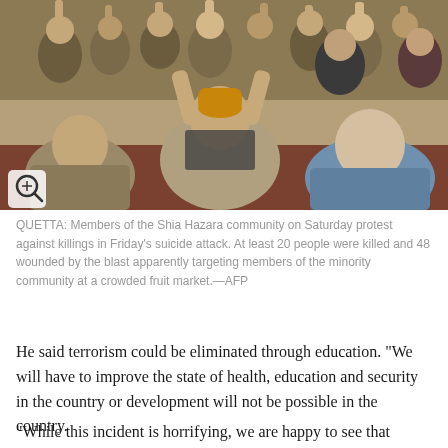[Figure (photo): Crowd of people from the Shia Hazara community raising hands in protest, photographed indoors. A magnify/zoom icon is visible in the bottom-left corner of the image.]
QUETTA: Members of the Shia Hazara community on Saturday protest against killings in Friday’s suicide attack. At least 20 people were killed and 48 wounded by the blast apparently targeting members of the minority community at a crowded fruit market.—AFP
He said terrorism could be eliminated through education. “We will have to improve the state of health, education and security in the country or development will not be possible in the country.
“While this incident is horrifying, we are happy to see that